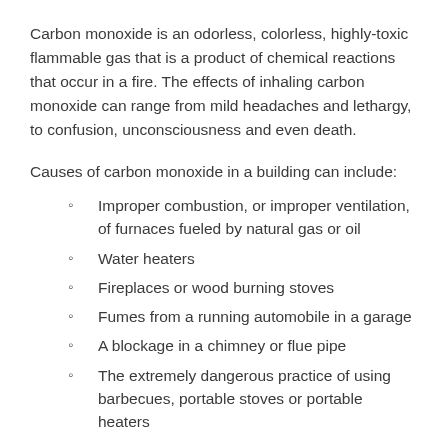Carbon monoxide is an odorless, colorless, highly-toxic flammable gas that is a product of chemical reactions that occur in a fire. The effects of inhaling carbon monoxide can range from mild headaches and lethargy, to confusion, unconsciousness and even death.
Causes of carbon monoxide in a building can include:
Improper combustion, or improper ventilation, of furnaces fueled by natural gas or oil
Water heaters
Fireplaces or wood burning stoves
Fumes from a running automobile in a garage
A blockage in a chimney or flue pipe
The extremely dangerous practice of using barbecues, portable stoves or portable heaters inside